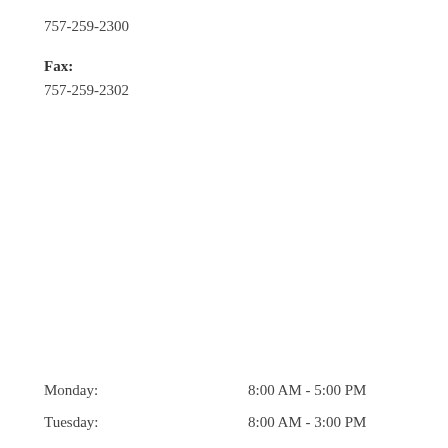757-259-2300
Fax:
757-259-2302
Monday:    8:00 AM - 5:00 PM
Tuesday:    8:00 AM - 3:00 PM